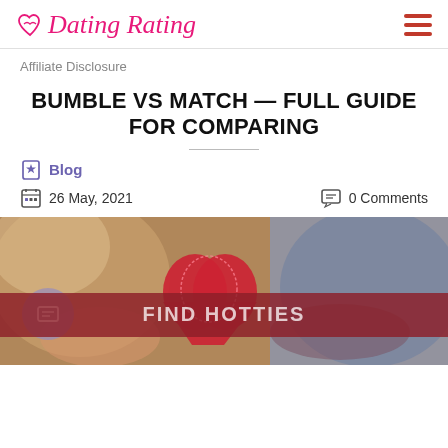Dating Rating
Affiliate Disclosure
BUMBLE VS MATCH — FULL GUIDE FOR COMPARING
Blog
26 May, 2021
0 Comments
[Figure (photo): Person holding two red knitted heart shapes, bokeh background. Overlaid with a dark red banner reading FIND HOTTIES and a circular icon on the left.]